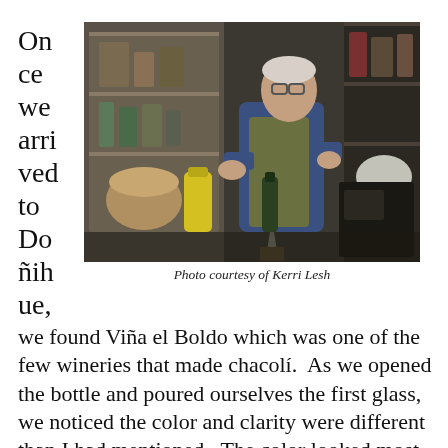Once we arrived to Doñihue,
[Figure (photo): An elderly man in a shop or cellar, leaning over and pouring from a bottle using a funnel into a container, surrounded by shelves with various items, baskets, a yellow gas canister, and old equipment.]
Photo courtesy of Kerri Lesh
we found Viña el Boldo which was one of the few wineries that made chacolí.  As we opened the bottle and poured ourselves the first glass, we noticed the color and clarity were different than I had mentioned.  The color looked most similar to a rosé, and didn't seem to be filtered.